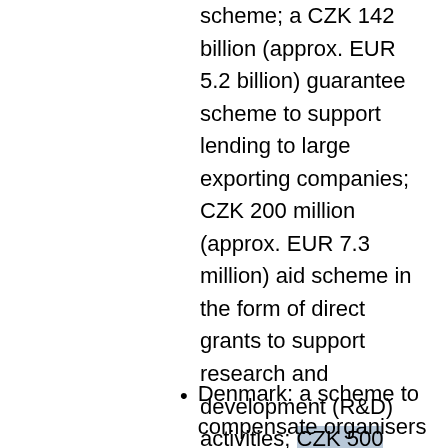scheme; a CZK 142 billion (approx. EUR 5.2 billion) guarantee scheme to support lending to large exporting companies; CZK 200 million (approx. EUR 7.3 million) aid scheme in the form of direct grants to support research and development (R&D) activities; CZK 500 billion (approx. EUR 18.5 billion) aid scheme in the form of State guarantees on loans to support lending to companies that have up to 500 employees;
Denmark: a scheme to compensate organisers for the damage suffered